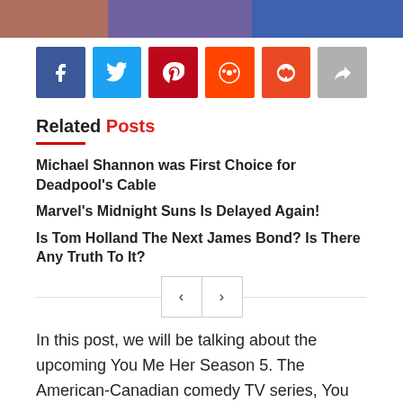[Figure (photo): Partial photo strip at the top of the page showing people]
[Figure (infographic): Social sharing buttons: Facebook, Twitter, Pinterest, Reddit, StumbleUpon, Share]
Related Posts
Michael Shannon was First Choice for Deadpool's Cable
Marvel's Midnight Suns Is Delayed Again!
Is Tom Holland The Next James Bond? Is There Any Truth To It?
[Figure (infographic): Pagination controls with left and right arrow buttons]
In this post, we will be talking about the upcoming You Me Her Season 5. The American-Canadian comedy TV series, You Me Her concluded its fourth season earlier